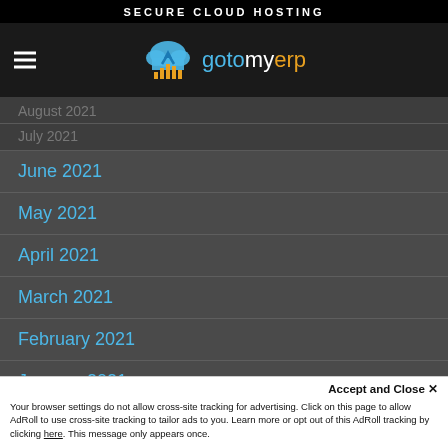SECURE CLOUD HOSTING
[Figure (logo): gotomyerp logo with cloud and bar chart icon]
August 2021
July 2021
June 2021
May 2021
April 2021
March 2021
February 2021
January 2021
December 2020
Accept and Close ✕
Your browser settings do not allow cross-site tracking for advertising. Click on this page to allow AdRoll to use cross-site tracking to tailor ads to you. Learn more or opt out of this AdRoll tracking by clicking here. This message only appears once.